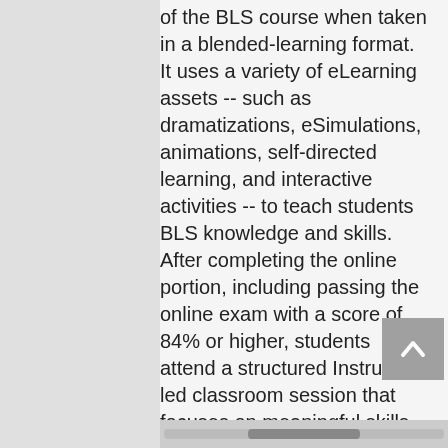of the BLS course when taken in a blended-learning format. It uses a variety of eLearning assets -- such as dramatizations, eSimulations, animations, self-directed learning, and interactive activities -- to teach students BLS knowledge and skills. After completing the online portion, including passing the online exam with a score of 84% or higher, students attend a structured Instructor-led classroom session that focuses on meaningful skills practice, debriefing, team scenarios, discussions of local protocols, and skills testing.
Course features and benefits:
Includes in-facility and prehospital tracks; student chooses a track before starting HeartCode modules